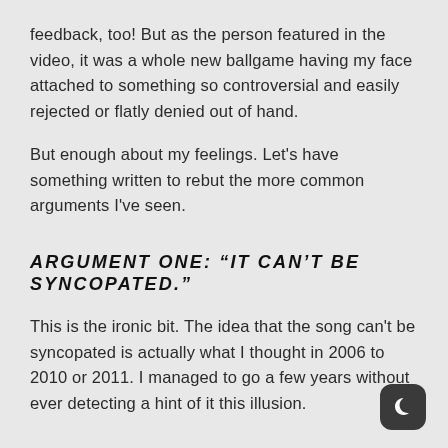feedback, too! But as the person featured in the video, it was a whole new ballgame having my face attached to something so controversial and easily rejected or flatly denied out of hand.
But enough about my feelings. Let's have something written to rebut the more common arguments I've seen.
ARGUMENT ONE: “IT CAN’T BE SYNCOPATED.”
This is the ironic bit. The idea that the song can't be syncopated is actually what I thought in 2006 to 2010 or 2011. I managed to go a few years without ever detecting a hint of it this illusion.